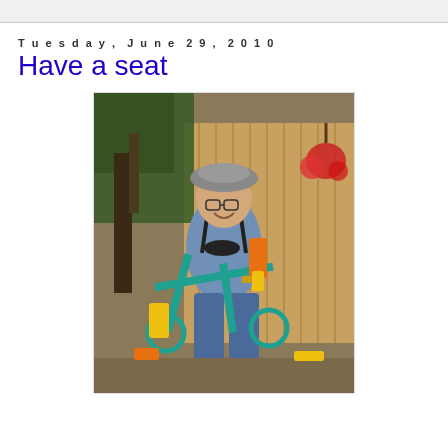Tuesday, June 29, 2010
Have a seat
[Figure (photo): A smiling man wearing a hard hat and glasses standing outdoors near a wooden fence, holding a bicycle frame (teal colored) and power tools, with a hanging flower basket visible on the fence and trees/greenery in the background.]